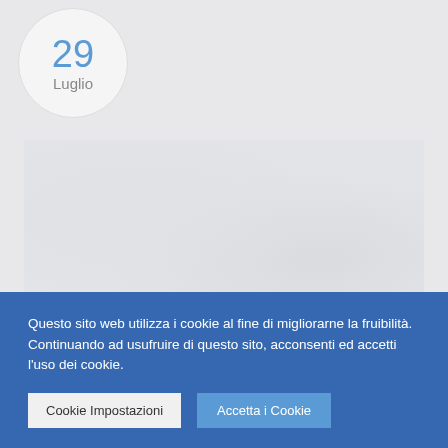29
Luglio
[Figure (photo): A large light-grey rectangular image placeholder area with subtle texture]
Questo sito web utilizza i cookie al fine di migliorarne la fruibilità. Continuando ad usufruire di questo sito, acconsenti ed accetti l'uso dei cookie.
Cookie Impostazioni
Accetta i Cookie